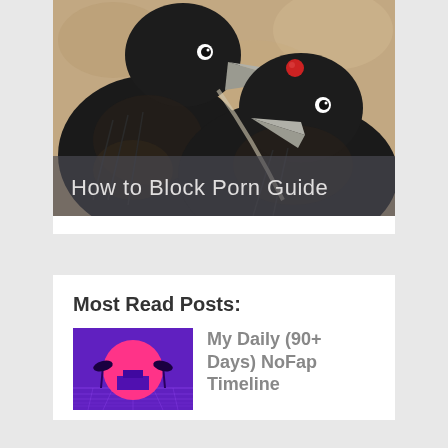[Figure (illustration): Two black crows/ravens illustrated in a painterly style on a tan/beige background, one holding a red cherry in its beak. Text overlay at bottom reads 'How to Block Porn Guide' on a semi-transparent dark band.]
Most Read Posts:
[Figure (illustration): Purple/violet retro synthwave scene with a large pink sun setting behind a building with palm trees, on a grid-lined landscape.]
My Daily (90+ Days) NoFap Timeline